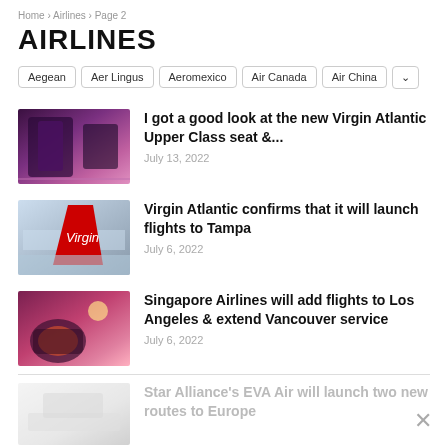Home > Airlines > Page 2
AIRLINES
Aegean | Aer Lingus | Aeromexico | Air Canada | Air China
[Figure (photo): Virgin Atlantic Upper Class seat interior, purple lighting]
I got a good look at the new Virgin Atlantic Upper Class seat &...
July 13, 2022
[Figure (photo): Virgin Atlantic aircraft tail with red Virgin logo on tarmac]
Virgin Atlantic confirms that it will launch flights to Tampa
July 6, 2022
[Figure (photo): Singapore Airlines business class seat, purple/orange tones]
Singapore Airlines will add flights to Los Angeles & extend Vancouver service
July 6, 2022
[Figure (photo): Star Alliance EVA Air aircraft, faded/greyed out]
Star Alliance's EVA Air will launch two new routes to Europe